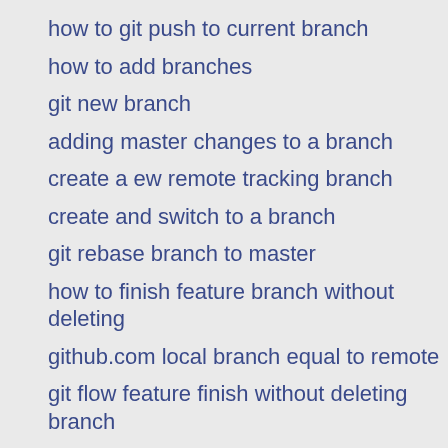how to git push to current branch
how to add branches
git new branch
adding master changes to a branch
create a ew remote tracking branch
create and switch to a branch
git rebase branch to master
how to finish feature branch without deleting
github.com local branch equal to remote
git flow feature finish without deleting branch
creating a branch from a commit
how create new git branch
Make an existing Git branch track a remote branch
Git - create new branch and switch to that new